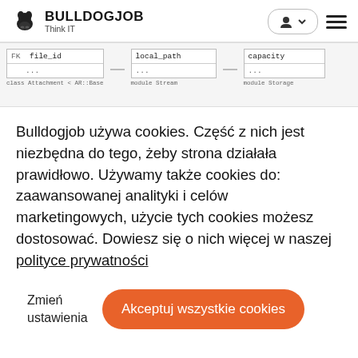BULLDOGJOB Think IT
[Figure (screenshot): Database schema diagram showing three tables: Attachment (with FK file_id field and ...), Stream (with local_path field and ...), and Storage (with capacity field and ...). Each table is labeled with class/module names below.]
Bulldogjob używa cookies. Część z nich jest niezbędna do tego, żeby strona działała prawidłowo. Używamy także cookies do: zaawansowanej analityki i celów marketingowych, użycie tych cookies możesz dostosować. Dowiesz się o nich więcej w naszej polityce prywatności
Zmień ustawienia
Akceptuj wszystkie cookies